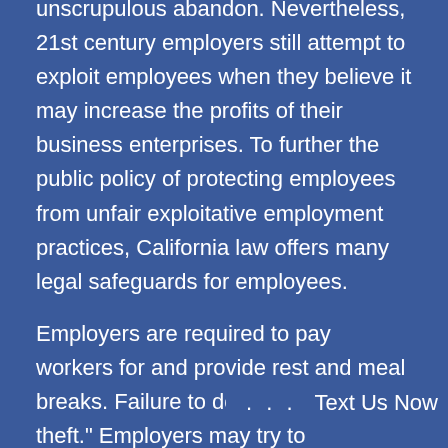unscrupulous abandon. Nevertheless, 21st century employers still attempt to exploit employees when they believe it may increase the profits of their business enterprises. To further the public policy of protecting employees from unfair exploitative employment practices, California law offers many legal safeguards for employees.
Employers are required to pay workers for and provide rest and meal breaks. Failure to do so is "wage theft." Employers may try to categorize a worker as an independent contractor to avoid compliance with California wage laws. Filing a claim in this situation for back wages may result in the entitlement to back wages. The following is a list of California laws re . . . Text Us Now and breaks that every California employee should know: